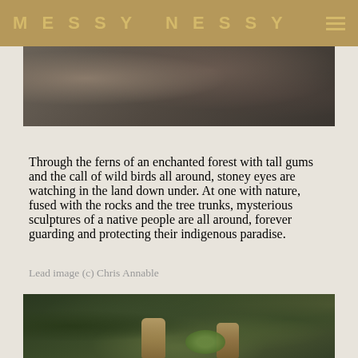MESSY NESSY
[Figure (photo): Close-up photo of mossy rocks and tree bark in a forest setting, dark tones of grey, brown and green]
Through the ferns of an enchanted forest with tall gums and the call of wild birds all around, stoney eyes are watching in the land down under. At one with nature, fused with the rocks and the tree trunks, mysterious sculptures of a native people are all around, forever guarding and protecting their indigenous paradise.
Lead image (c) Chris Annable
[Figure (photo): Photo of sculptures of cherub-like figures in a lush green fern forest with mossy rocks, earthy and mystical atmosphere]